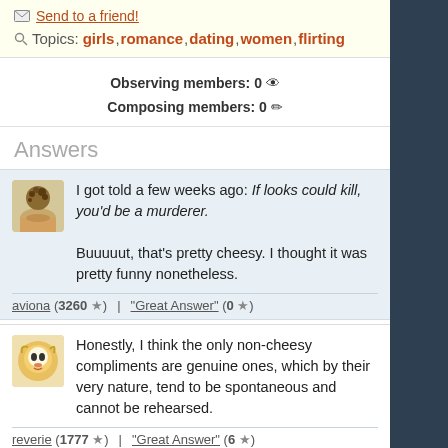Send to a friend!
Topics: girls, romance, dating, women, flirting
Observing members: 0
Composing members: 0
Answers
I got told a few weeks ago: If looks could kill, you'd be a murderer. Buuuuut, that's pretty cheesy. I thought it was pretty funny nonetheless.
aviona (3260 ★) | "Great Answer" (0 ★)
Honestly, I think the only non-cheesy compliments are genuine ones, which by their very nature, tend to be spontaneous and cannot be rehearsed.
reverie (1777 ★) | "Great Answer" (6 ★)
All pick up lines are cheesy if they aren't